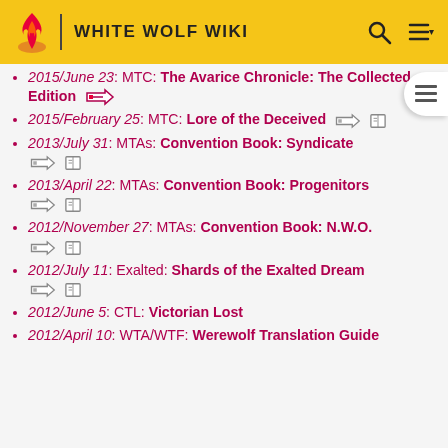WHITE WOLF WIKI
2015/June 23: MTC: The Avarice Chronicle: The Collected Edition
2015/February 25: MTC: Lore of the Deceived
2013/July 31: MTAs: Convention Book: Syndicate
2013/April 22: MTAs: Convention Book: Progenitors
2012/November 27: MTAs: Convention Book: N.W.O.
2012/July 11: Exalted: Shards of the Exalted Dream
2012/June 5: CTL: Victorian Lost
2012/April 10: WTA/WTF: Werewolf Translation Guide